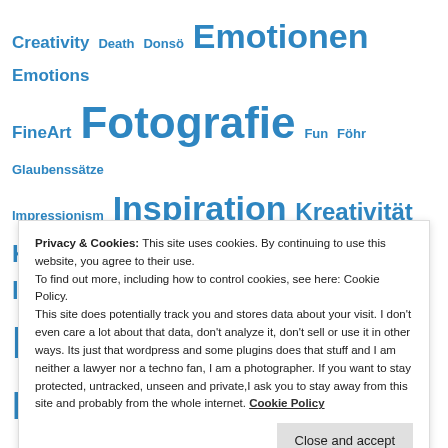Creativity Death Donsö Emotionen Emotions FineArt Fotografie Fun Föhr Glaubenssätze Impressionism Inspiration Kreativität Kunst landscape Landschaft Lichtzauber Light painting Metaphern Metaphors Natur Nature Noël Perception Philosophie Philosophy
Privacy & Cookies: This site uses cookies. By continuing to use this website, you agree to their use.
To find out more, including how to control cookies, see here: Cookie Policy.
This site does potentially track you and stores data about your visit. I don't even care a lot about that data, don't analyze it, don't sell or use it in other ways. Its just that wordpress and some plugins does that stuff and I am neither a lawyer nor a techno fan, I am a photographer. If you want to stay protected, untracked, unseen and private,I ask you to stay away from this site and probably from the whole internet. Cookie Policy